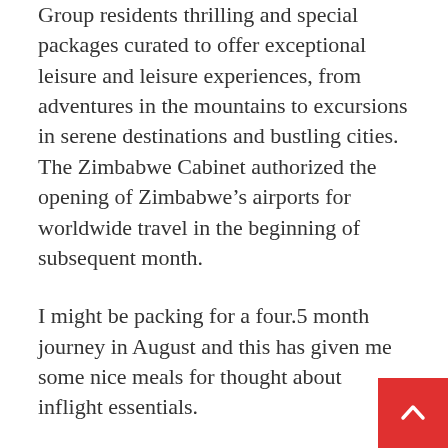Group residents thrilling and special packages curated to offer exceptional leisure and leisure experiences, from adventures in the mountains to excursions in serene destinations and bustling cities. The Zimbabwe Cabinet authorized the opening of Zimbabwe’s airports for worldwide travel in the beginning of subsequent month.
I might be packing for a four.5 month journey in August and this has given me some nice meals for thought about inflight essentials.
The Norwegian islands of Jan Mayen and Svalbard in the Arctic Ocean are often associated with Europe.
Travel Essentials Upcoming Events